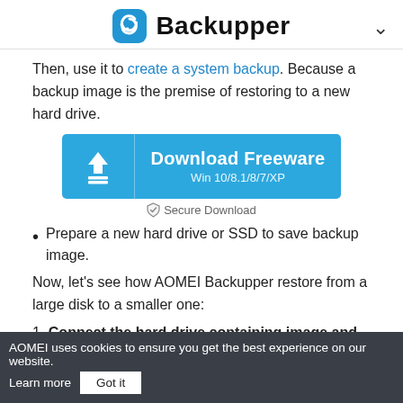Backupper
Then, use it to create a system backup. Because a backup image is the premise of restoring to a new hard drive.
[Figure (other): Download Freeware button for Win 10/8.1/8/7/XP with a download icon on the left and Secure Download label below]
Secure Download
Prepare a new hard drive or SSD to save backup image.
Now, let's see how AOMEI Backupper restore from a large disk to a smaller one:
1. Connect the hard drive containing image and target drive to your computer, make sure both of them can be detected.
AOMEI uses cookies to ensure you get the best experience on our website. Learn more  Got it